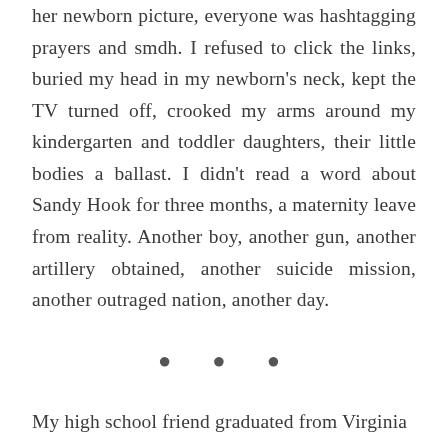her newborn picture, everyone was hashtagging prayers and smdh. I refused to click the links, buried my head in my newborn's neck, kept the TV turned off, crooked my arms around my kindergarten and toddler daughters, their little bodies a ballast. I didn't read a word about Sandy Hook for three months, a maternity leave from reality. Another boy, another gun, another artillery obtained, another suicide mission, another outraged nation, another day.
• • •
My high school friend graduated from Virginia